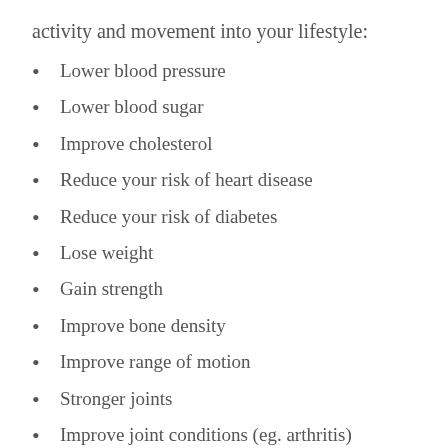activity and movement into your lifestyle:
Lower blood pressure
Lower blood sugar
Improve cholesterol
Reduce your risk of heart disease
Reduce your risk of diabetes
Lose weight
Gain strength
Improve bone density
Improve range of motion
Stronger joints
Improve joint conditions (eg. arthritis)